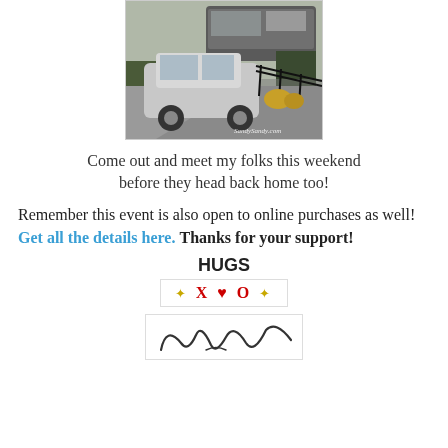[Figure (photo): Outdoor parking area with a silver SUV/minivan parked on gravel. A large RV/motorhome is visible in the background. There are black metal fence railings and some flowering plants. A watermark reads 'SandySandy.com' in the lower right corner.]
Come out and meet my folks this weekend before they head back home too!
Remember this event is also open to online purchases as well! Get all the details here. Thanks for your support!
HUGS
[Figure (illustration): Decorative XO box with stars/sparkles and heart symbols: ✦ X ♥ O ✦ inside a bordered rectangle]
[Figure (illustration): Handwritten cursive signature at the bottom of the page, partially visible]